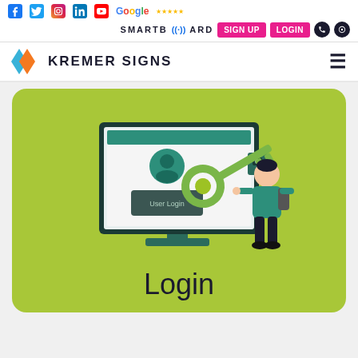Social icons: Facebook, Twitter, Instagram, LinkedIn, YouTube, Google (5 stars)
SMARTBOARD | SIGN UP | LOGIN
[Figure (logo): Kremer Signs logo with orange/blue chevron arrows and company name in dark text, hamburger menu icon on right]
[Figure (illustration): Green rounded card with isometric illustration of a computer monitor showing a login screen with user icon and lock, a person holding a large key, and the word 'Login' below in large dark text]